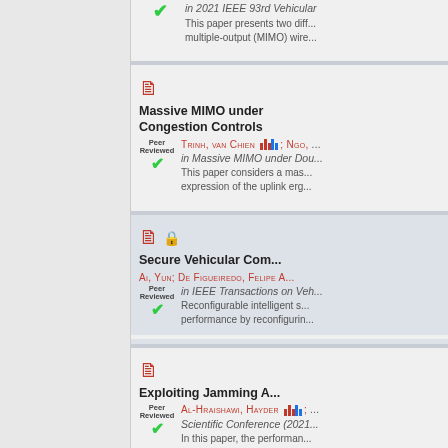in 2021 IEEE 93rd Vehicular...
This paper presents two diff... multiple-output (MIMO) wire...
Massive MIMO under Congestion Controls
TRINH, VAN CHIEN; NGO, ...
in Massive MIMO under Dou...
This paper considers a mas... expression of the uplink erg...
Secure Vehicular Com...
AI, YUN; DE FIGUEIREDO, FELIPE A...
in IEEE Transactions on Veh...
Reconfigurable intelligent s... performance by reconfigurin...
Exploiting Jamming A...
AL-HRAISHAWI, HAYDER; ...
Scientific Conference (2021...
In this paper, the performan... output (MIMO) is investigate...